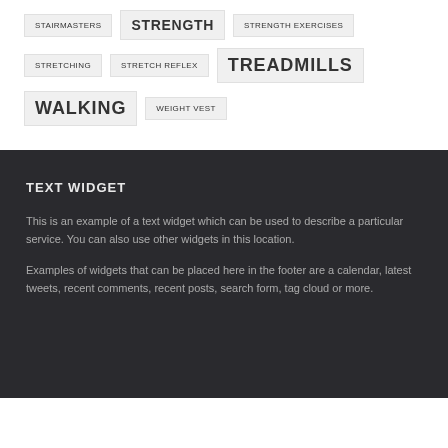STAIRMASTERS
STRENGTH
STRENGTH EXERCISES
STRETCHING
STRETCH REFLEX
TREADMILLS
WALKING
WEIGHT VEST
TEXT WIDGET
This is an example of a text widget which can be used to describe a particular service. You can also use other widgets in this location.
Examples of widgets that can be placed here in the footer are a calendar, latest tweets, recent comments, recent posts, search form, tag cloud or more.